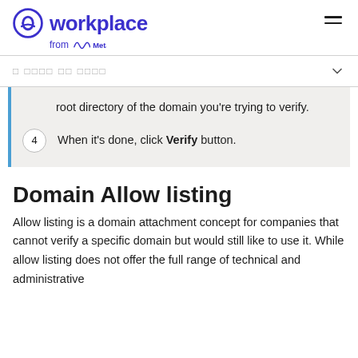Workplace from Meta
root directory of the domain you're trying to verify.
4  When it's done, click Verify button.
Domain Allow listing
Allow listing is a domain attachment concept for companies that cannot verify a specific domain but would still like to use it. While allow listing does not offer the full range of technical and administrative